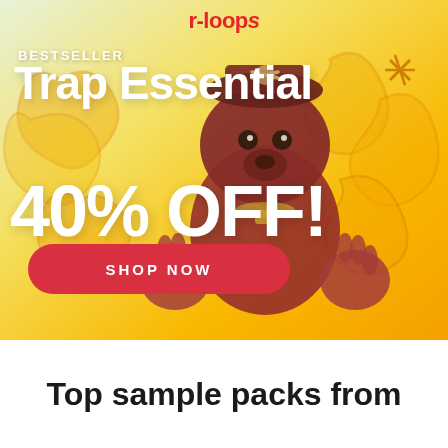[Figure (illustration): Promotional banner for r-loops music sample pack. Shows a cartoon dog character with graffiti background. Yellow/gold gradient background. Logo at top center reads 'r-loops' in red. Text overlay: BESTSELLER, Trap Essential, 40% OFF! Red rounded button with SHOP NOW text.]
Top sample packs from